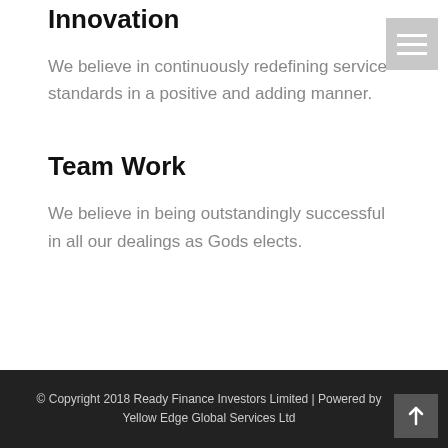Innovation
We believe in continuously redefining service standards in a positive and adding manner.
Team Work
We believe in being outstandingly successful in all our dealings as Gods elects.
© Copyright 2018 Ready Finance Investors Limited | Powered by Yellow Edge Global Services Ltd